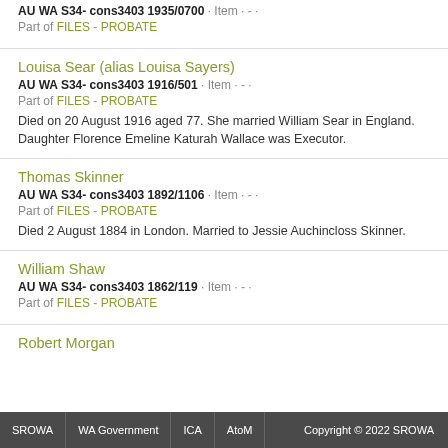Mary Ann Feast
AU WA S34- cons3403 1935/0700 · Item · - ·
Part of FILES - PROBATE
Louisa Sear (alias Louisa Sayers)
AU WA S34- cons3403 1916/501 · Item · - ·
Part of FILES - PROBATE
Died on 20 August 1916 aged 77. She married William Sear in England. Daughter Florence Emeline Katurah Wallace was Executor.
Thomas Skinner
AU WA S34- cons3403 1892/1106 · Item · - ·
Part of FILES - PROBATE
Died 2 August 1884 in London. Married to Jessie Auchincloss Skinner.
William Shaw
AU WA S34- cons3403 1862/119 · Item · - ·
Part of FILES - PROBATE
Robert Morgan
SROWA  WA Government  ICA  AtoM  Copyright © 2022 SROWA